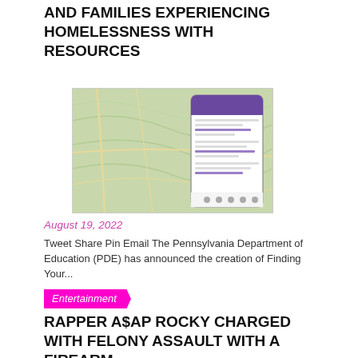AND FAMILIES EXPERIENCING HOMELESSNESS WITH RESOURCES
[Figure (photo): A smartphone displaying a map app overlaid on a topographic map of Pennsylvania]
August 19, 2022
Tweet Share Pin Email The Pennsylvania Department of Education (PDE) has announced the creation of Finding Your...
Entertainment
RAPPER A$AP ROCKY CHARGED WITH FELONY ASSAULT WITH A FIREARM
[Figure (photo): A young Black man in a suit at a Tribeca Film Festival 2021 event with LinkedIn branding visible]